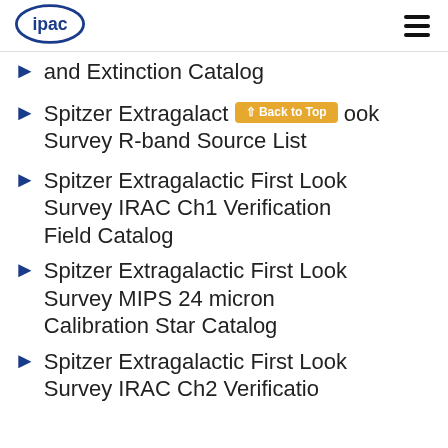ipac [logo] [hamburger menu]
and Extinction Catalog
Spitzer Extragalactic First Look Survey R-band Source List
Spitzer Extragalactic First Look Survey IRAC Ch1 Verification Field Catalog
Spitzer Extragalactic First Look Survey MIPS 24 micron Calibration Star Catalog
Spitzer Extragalactic First Look Survey IRAC Ch2 Verification [partial]